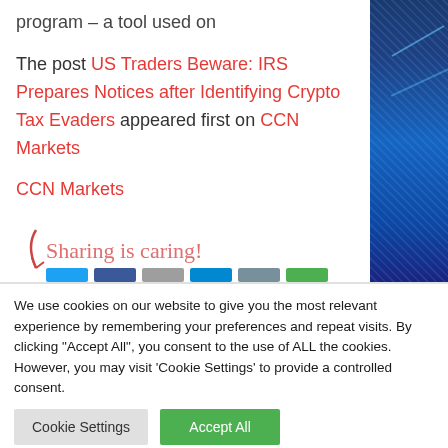program – a tool used on
The post US Traders Beware: IRS Prepares Notices after Identifying Crypto Tax Evaders appeared first on CCN Markets
CCN Markets
[Figure (illustration): Sharing is caring! text in cursive with social sharing buttons below (blue, dark blue, gray, light blue, gray, green)]
[Figure (photo): Blue financial/crypto chart background on right side]
We use cookies on our website to give you the most relevant experience by remembering your preferences and repeat visits. By clicking "Accept All", you consent to the use of ALL the cookies. However, you may visit 'Cookie Settings' to provide a controlled consent.
Cookie Settings
Accept All